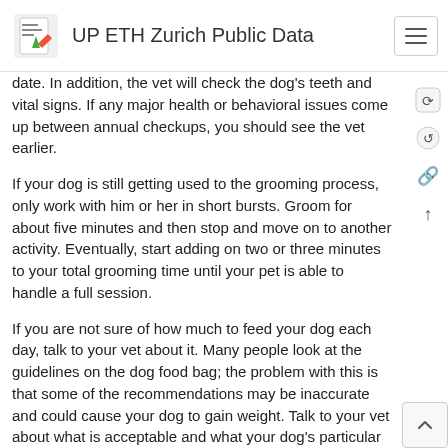UP ETH Zurich Public Data
date. In addition, the vet will check the dog's teeth and vital signs. If any major health or behavioral issues come up between annual checkups, you should see the vet earlier.
If your dog is still getting used to the grooming process, only work with him or her in short bursts. Groom for about five minutes and then stop and move on to another activity. Eventually, start adding on two or three minutes to your total grooming time until your pet is able to handle a full session.
If you are not sure of how much to feed your dog each day, talk to your vet about it. Many people look at the guidelines on the dog food bag; the problem with this is that some of the recommendations may be inaccurate and could cause your dog to gain weight. Talk to your vet about what is acceptable and what your dog's particular needs are.
If your dog does something the correct way, such as sitting before you put the leash on, make sure that you give it tons of affection and praise. This will show your dog that the behavior he is exhibiting is just what you are looking